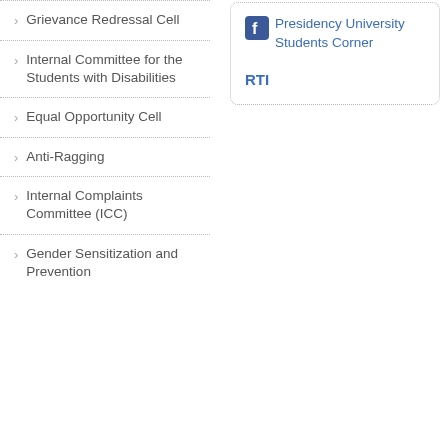Grievance Redressal Cell
Internal Committee for the Students with Disabilities
Equal Opportunity Cell
Anti-Ragging
Internal Complaints Committee (ICC)
Gender Sensitization and Prevention
[Figure (logo): Facebook logo icon (blue square with white f)]
Presidency University Students Corner
RTI